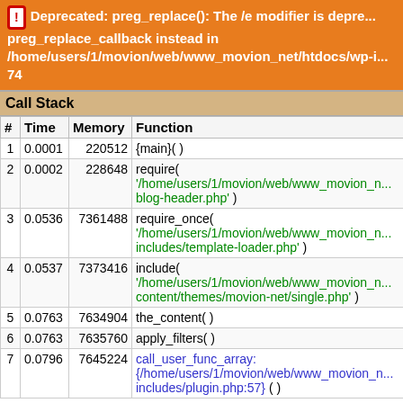Deprecated: preg_replace(): The /e modifier is deprecated, use preg_replace_callback instead in /home/users/1/movion/web/www_movion_net/htdocs/wp-i... 74
Call Stack
| # | Time | Memory | Function |
| --- | --- | --- | --- |
| 1 | 0.0001 | 220512 | {main}( ) |
| 2 | 0.0002 | 228648 | require( '/home/users/1/movion/web/www_movion_n... blog-header.php' ) |
| 3 | 0.0536 | 7361488 | require_once( '/home/users/1/movion/web/www_movion_n... includes/template-loader.php' ) |
| 4 | 0.0537 | 7373416 | include( '/home/users/1/movion/web/www_movion_n... content/themes/movion-net/single.php' ) |
| 5 | 0.0763 | 7634904 | the_content( ) |
| 6 | 0.0763 | 7635760 | apply_filters( ) |
| 7 | 0.0796 | 7645224 | call_user_func_array: {/home/users/1/movion/web/www_movion_n... includes/plugin.php:57} ( ) |